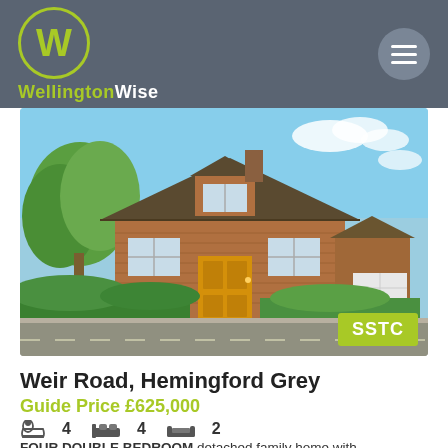WellingtonWise
[Figure (photo): Exterior photo of a four double bedroom detached family home on Weir Road, Hemingford Grey, with brick facade, tiled roof, yellow front door, garage, and mature garden. SSTC badge visible in lower right corner.]
Weir Road, Hemingford Grey
Guide Price £625,000
4  4  2
FOUR DOUBLE BEDROOM detached family home with